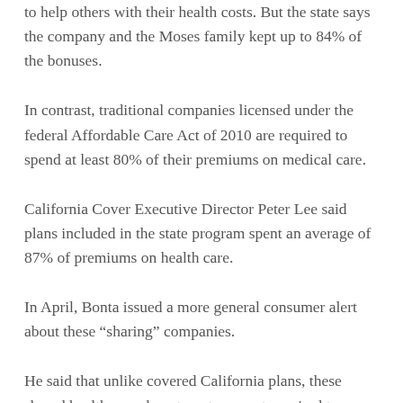to help others with their health costs. But the state says the company and the Moses family kept up to 84% of the bonuses.
In contrast, traditional companies licensed under the federal Affordable Care Act of 2010 are required to spend at least 80% of their premiums on medical care.
California Cover Executive Director Peter Lee said plans included in the state program spent an average of 87% of premiums on health care.
In April, Bonta issued a more general consumer alert about these “sharing” companies.
He said that unlike covered California plans, these shared health care departments are not required to cover pre-existing conditions or guarantee coverage for medical costs or services such as birth control, prescriptions and drugs. mental health care.